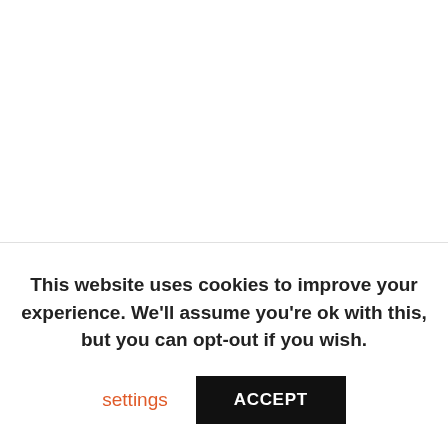This is an old-school technique which can get you out of a sticky situation if the reason your car won't start is that the battery is
This website uses cookies to improve your experience. We'll assume you're ok with this, but you can opt-out if you wish.